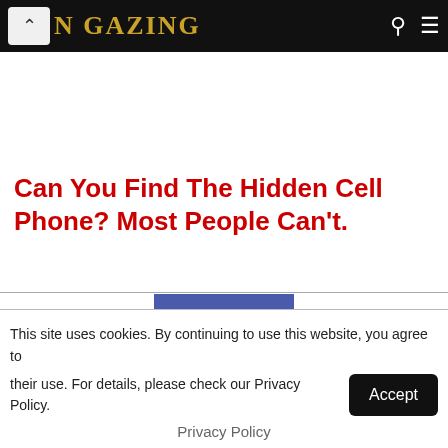N GAZING
Can You Find The Hidden Cell Phone? Most People Can't.
[Figure (illustration): A cartoon/flat illustration of a blue smartphone showing a light blue screen, viewed from the front, partially cut off at the bottom of the visible area.]
This site uses cookies. By continuing to use this website, you agree to their use. For details, please check our Privacy Policy.
Accept
Privacy Policy